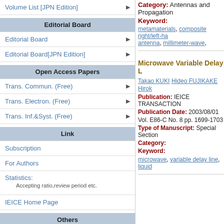Volume List [JPN Edition]
Editorial Board
Editorial Board
Editorial Board[JPN Edition]
Open Access Papers
Trans. Commun. (Free)
Trans. Electron. (Free)
Trans. Inf.&Syst. (Free)
Link
Subscription
For Authors
Statistics:
Accepting ratio,review period etc.
IEICE Home Page
Others
Citation Index
Category: Antennas and Propagation
Keyword:
metamaterials, composite right/left-ha antenna, millimeter-wave,
Microwave Variable Delay L
Takao KUKI Hideo FUJIKAKE Hirok
Publication: IEICE TRANSACTION
Publication Date: 2003/08/01
Vol. E86-C No. 8 pp. 1699-1703
Type of Manuscript: Special Section
Category:
Keyword:
microwave, variable delay line, liquid